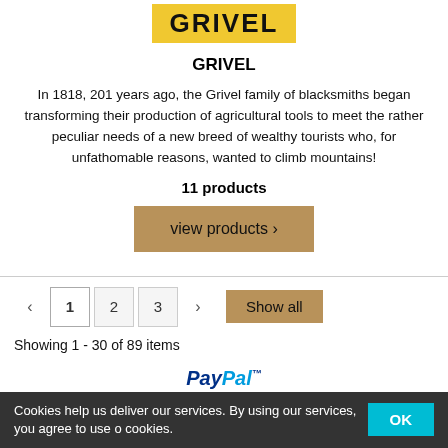[Figure (logo): Grivel logo: yellow background rectangle with black bold text GRIVEL]
GRIVEL
In 1818, 201 years ago, the Grivel family of blacksmiths began transforming their production of agricultural tools to meet the rather peculiar needs of a new breed of wealthy tourists who, for unfathomable reasons, wanted to climb mountains!
11 products
view products >
< 1 2 3 > Show all
Showing 1 - 30 of 89 items
[Figure (logo): PayPal logo partially visible]
Cookies help us deliver our services. By using our services, you agree to use o cookies.